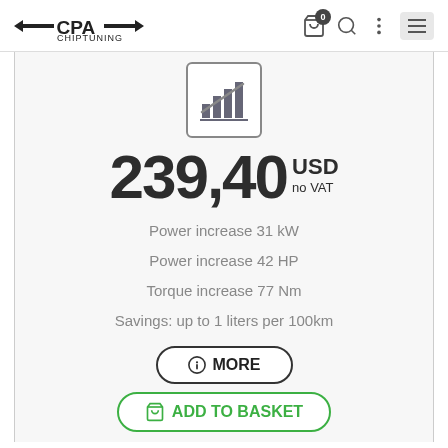CPA Chiptuning — navigation header with cart (0), search, menu icons
[Figure (illustration): Bar chart growth icon inside a rounded square border]
239,40 USD no VAT
Power increase 31 kW
Power increase 42 HP
Torque increase 77 Nm
Savings: up to 1 liters per 100km
MORE
ADD TO BASKET